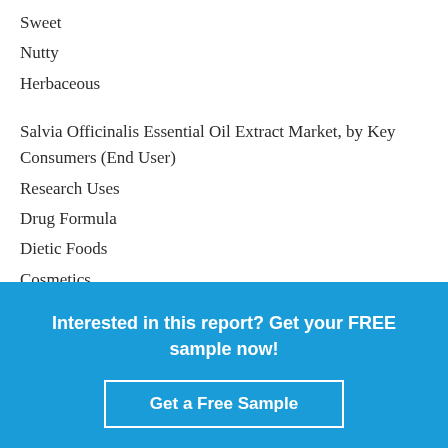Sweet
Nutty
Herbaceous
Salvia Officinalis Essential Oil Extract Market, by Key Consumers (End User)
Research Uses
Drug Formula
Dietic Foods
Cosmetics
Others
Interested in this report? Get your FREE sample now!
Get a Free Sample